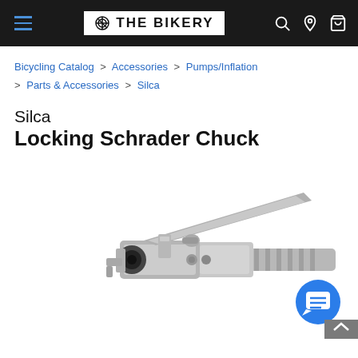THE BIKERY — navigation header with hamburger menu, logo, search, location, and cart icons
Bicycling Catalog > Accessories > Pumps/Inflation > Parts & Accessories > Silca
Silca Locking Schrader Chuck
[Figure (photo): Close-up photo of a Silca Locking Schrader Chuck — a chrome/nickel-plated metal valve chuck with a lever arm on top and a ribbed hose barb fitting on the right side, photographed against a white background.]